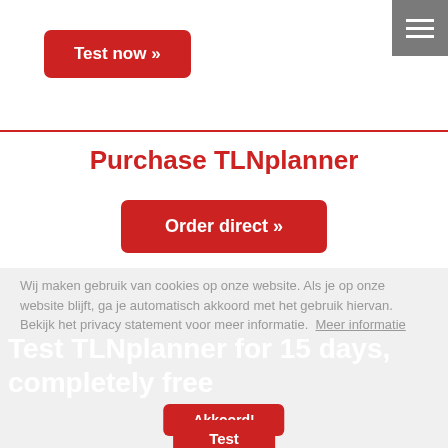[Figure (screenshot): Hamburger/menu icon in gray box top-right corner]
Test now »
Purchase TLNplanner
Order direct »
Wij maken gebruik van cookies op onze website. Als je op onze website blijft, ga je automatisch akkoord met het gebruik hiervan. Bekijk het privacy statement voor meer informatie.  Meer informatie
Akkoord!
Test TLNplanner for 15 days, completely free
Test now